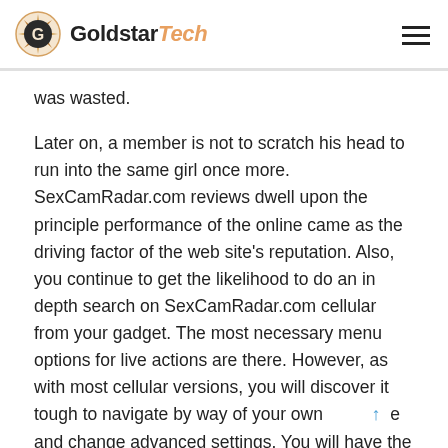GoldstarTech
was wasted.
Later on, a member is not to scratch his head to run into the same girl once more. SexCamRadar.com reviews dwell upon the principle performance of the online came as the driving factor of the web site's reputation. Also, you continue to get the likelihood to do an in depth search on SexCamRadar.com cellular from your gadget. The most necessary menu options for live actions are there. However, as with most cellular versions, you will discover it tough to navigate by way of your own and change advanced settings. You will have the ability to pay for a one time experience without the necessity to